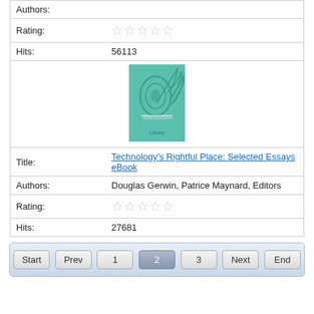| Authors: |  |
| Rating: | ☆☆☆☆☆ |
| Hits: | 56113 |
| [book cover image] |  |
| Title: | Technology's Rightful Place: Selected Essays eBook |
| Authors: | Douglas Gerwin, Patrice Maynard, Editors |
| Rating: | ☆☆☆☆☆ |
| Hits: | 27681 |
[Figure (illustration): Book cover with teal/green swirl design for Technology's Rightful Place: Selected Essays eBook]
Technology's Rightful Place: Selected Essays eBook
Pagination controls: Start, Prev, 1, 2 (current), 3, Next, End